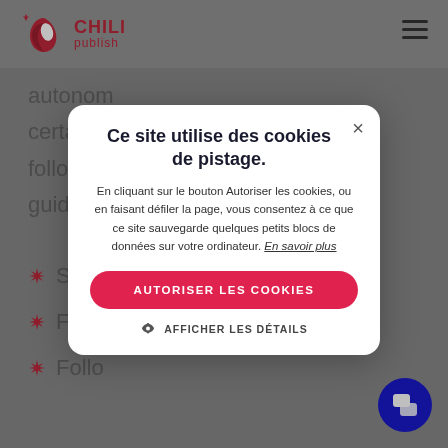[Figure (logo): CHILI publish logo with red chili pepper icon and red text 'CHILI publish']
autonom... certain c... followin... guidelin...
Stron...
Free...
Follo...
Ce site utilise des cookies de pistage.
En cliquant sur le bouton Autoriser les cookies, ou en faisant défiler la page, vous consentez à ce que ce site sauvegarde quelques petits blocs de données sur votre ordinateur. En savoir plus
AUTORISER LES COOKIES
AFFICHER LES DÉTAILS